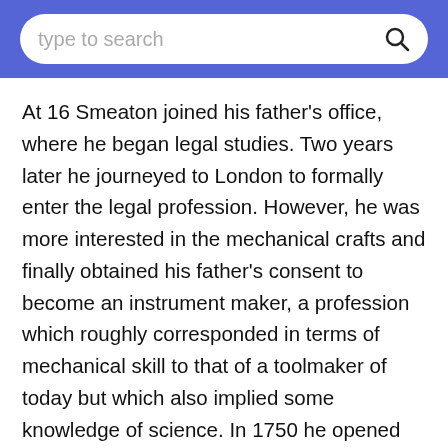type to search
At 16 Smeaton joined his father's office, where he began legal studies. Two years later he journeyed to London to formally enter the legal profession. However, he was more interested in the mechanical crafts and finally obtained his father's consent to become an instrument maker, a profession which roughly corresponded in terms of mechanical skill to that of a toolmaker of today but which also implied some knowledge of science. In 1750 he opened his own instrument shop.
Smeaton's scientific training came from reading and from attending the meetings of the Royal